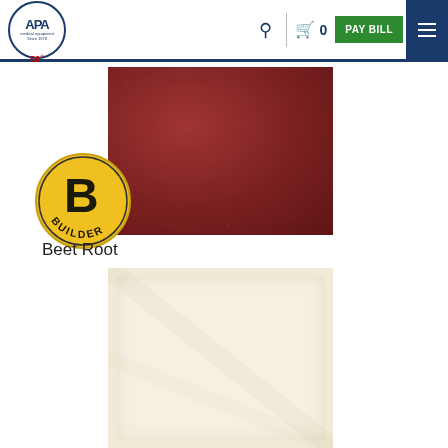[Figure (screenshot): APA Medical Equipment website navigation bar with logo, search icon, cart with 0 items, green PAY BILL button, and blue hamburger menu button]
[Figure (photo): Beet Root color swatch - dark brownish-red textured leather/vinyl material with Builder brand yellow circle badge overlaid]
Beet Root
[Figure (photo): Cream/off-white color swatch - light beige textured material, partially visible]